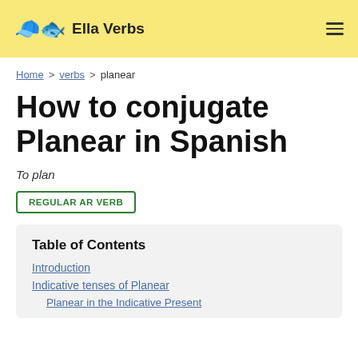Ella Verbs
Home > verbs > planear
How to conjugate Planear in Spanish
To plan
REGULAR AR VERB
Table of Contents
Introduction
Indicative tenses of Planear
Planear in the Indicative Present